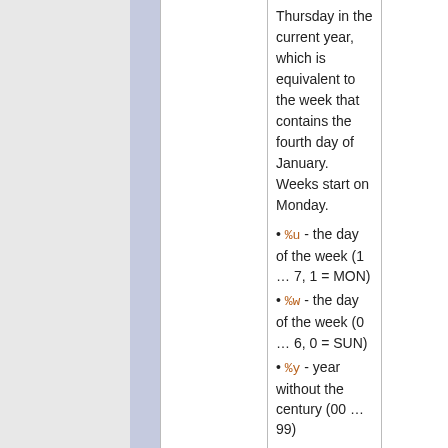| param | description | extra |
| --- | --- | --- |
|  | Thursday in the current year, which is equivalent to the week that contains the fourth day of January. Weeks start on Monday.
• %u - the day of the week (1 … 7, 1 = MON)
• %w - the day of the week (0 … 6, 0 = SUN)
• %y - year without the century (00 … 99)
• %Y - year including the century (ex. 2012)
• %% - a literal % character |  |
| id | ID of input field, optional. | "id_ |
| size | Size of input field, in number of characters. | (cal
nee |
| class | CSS class of input field. | "twi |
|  | Additional HTML input field attributes, such as
alt, disabled, maxlength, onblur, onchange,
onfocus, readonly, style, tabindex, title |  |